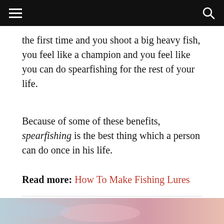≡  🔍
the first time and you shoot a big heavy fish, you feel like a champion and you feel like you can do spearfishing for the rest of your life.
Because of some of these benefits, spearfishing is the best thing which a person can do once in his life.
Read more: How To Make Fishing Lures
How To Make Fishing Lures
By Buffy J Baker - November 1, 2021  💬 0
[Figure (photo): Photo strip at the bottom showing fishing-related image with pink/blue tones]